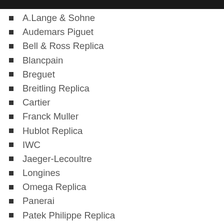A.Lange & Sohne
Audemars Piguet
Bell & Ross Replica
Blancpain
Breguet
Breitling Replica
Cartier
Franck Muller
Hublot Replica
IWC
Jaeger-Lecoultre
Longines
Omega Replica
Panerai
Patek Philippe Replica
Piaget
Richard Mille Replica
Rolex